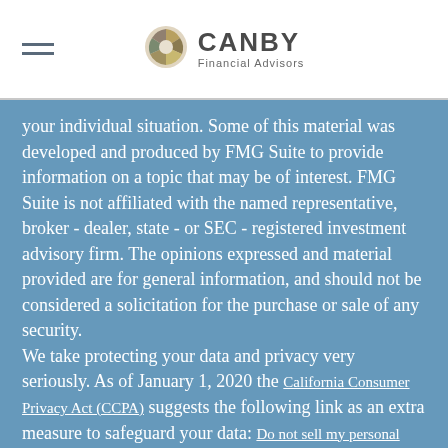CANBY Financial Advisors
your individual situation. Some of this material was developed and produced by FMG Suite to provide information on a topic that may be of interest. FMG Suite is not affiliated with the named representative, broker - dealer, state - or SEC - registered investment advisory firm. The opinions expressed and material provided are for general information, and should not be considered a solicitation for the purchase or sale of any security.
We take protecting your data and privacy very seriously. As of January 1, 2020 the California Consumer Privacy Act (CCPA) suggests the following link as an extra measure to safeguard your data: Do not sell my personal